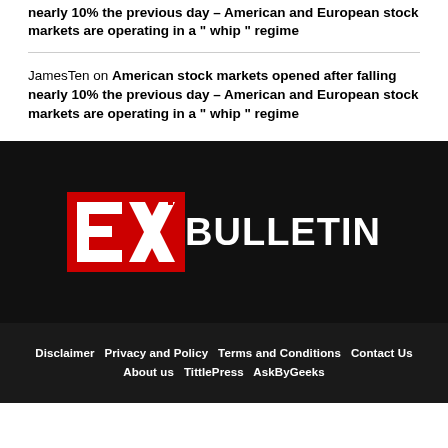nearly 10% the previous day – American and European stock markets are operating in a “ whip ” regime
JamesTen on American stock markets opened after falling nearly 10% the previous day – American and European stock markets are operating in a “ whip ” regime
[Figure (logo): EX BULLETIN logo with red stylized EX letters and white BULLETIN text on black background]
Disclaimer  Privacy and Policy  Terms and Conditions  Contact Us  About us  TittlePress  AskByGeeks